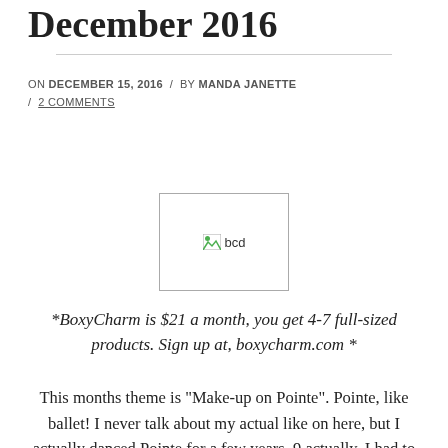December 2016
ON DECEMBER 15, 2016 / BY MANDA JANETTE / 2 COMMENTS
[Figure (photo): Broken/placeholder image labeled 'bcd']
*BoxyCharm is $21 a month, you get 4-7 full-sized products. Sign up at, boxycharm.com *
This months theme is “Make-up on Pointe”. Pointe, like ballet! I never talk about my actual like on here, but I actually danced Pointe for a few years, 9 actually. I had to quit due to a very bad ankle injury. So, this theme is great. I